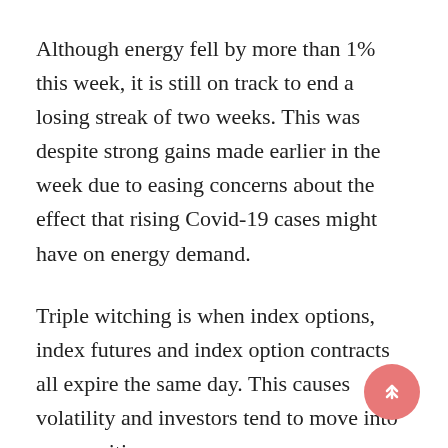Although energy fell by more than 1% this week, it is still on track to end a losing streak of two weeks. This was despite strong gains made earlier in the week due to easing concerns about the effect that rising Covid-19 cases might have on energy demand.
Triple witching is when index options, index futures and index option contracts all expire the same day. This causes volatility and investors tend to move into new positions.
Disclaimer: Fusion Media would like to remind you that the data contained in this website is not necessarily real-time nor accurate. CFDs are stocks, indexes or futures. The prices of Forex and CFDs are not supplied